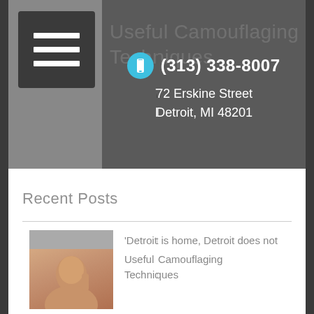Useful Camouflaging Techniques
(313) 338-8007
72 Erskine Street
Detroit, MI 48201
Recent Posts
[Figure (other): Video thumbnail placeholder with play button triangle]
'Detroit is home, Detroit does not need to be fixed': One dermatologist's reason why for
[Figure (photo): Thumbnail photo of a woman touching her face]
Useful Camouflaging Techniques